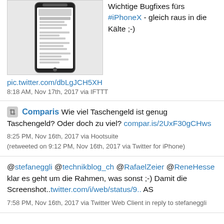[Figure (screenshot): Screenshot of iPhone update details screen]
Wichtige Bugfixes fürs #iPhoneX - gleich raus in die Kälte ;-)
pic.twitter.com/dbLgJCH5XH
8:18 AM, Nov 17th, 2017 via IFTTT
Comparis Wie viel Taschengeld ist genug Taschengeld? Oder doch zu viel? compar.is/2UxF30gCHws
8:25 PM, Nov 16th, 2017 via Hootsuite (retweeted on 9:12 PM, Nov 16th, 2017 via Twitter for iPhone)
@stefaneggli @technikblog_ch @RafaelZeier @ReneHesse klar es geht um die Rahmen, was sonst ;-) Damit die Screenshot.. twitter.com/i/web/status/9.. AS
7:58 PM, Nov 16th, 2017 via Twitter Web Client in reply to stefaneggli